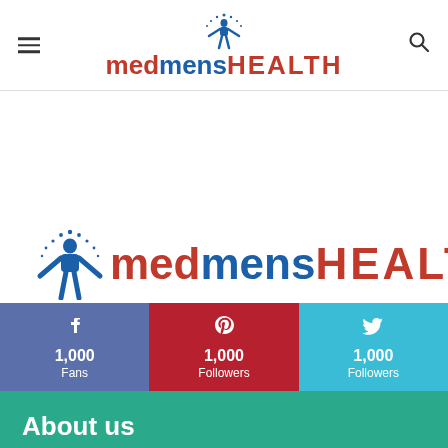medmensHEALTH — navigation header with hamburger menu and search icon
[Figure (logo): medmensHEALTH logo with blue human figure and dots — large version in body]
1,000 Fans (Facebook), 1,000 Followers (Pinterest), 1,000 Followers (Twitter)
About us